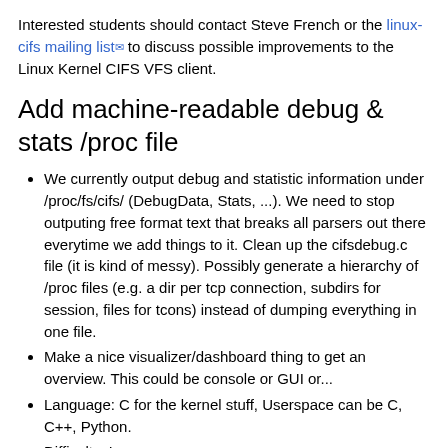Interested students should contact Steve French or the linux-cifs mailing list to discuss possible improvements to the Linux Kernel CIFS VFS client.
Add machine-readable debug & stats /proc file
We currently output debug and statistic information under /proc/fs/cifs/ (DebugData, Stats, ...). We need to stop outputing free format text that breaks all parsers out there everytime we add things to it. Clean up the cifsdebug.c file (it is kind of messy). Possibly generate a hierarchy of /proc files (e.g. a dir per tcp connection, subdirs for session, files for tcons) instead of dumping everything in one file.
Make a nice visualizer/dashboard thing to get an overview. This could be console or GUI or...
Language: C for the kernel stuff, Userspace can be C, C++, Python.
Difficulty: Low